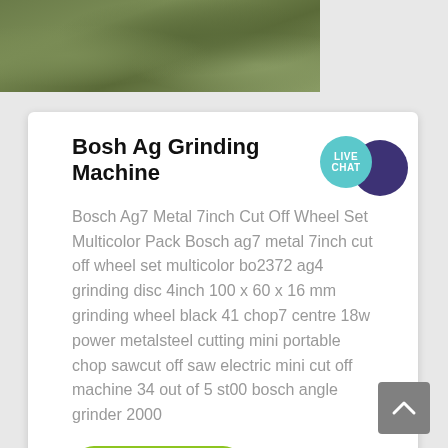[Figure (photo): Partial photo of grassy/rocky ground, cropped at top of page]
Bosh Ag Grinding Machine
Bosch Ag7 Metal 7inch Cut Off Wheel Set Multicolor Pack Bosch ag7 metal 7inch cut off wheel set multicolor bo2372 ag4 grinding disc 4inch 100 x 60 x 16 mm grinding wheel black 41 chop7 centre 18w power metalsteel cutting mini portable chop sawcut off saw electric mini cut off machine 34 out of 5 st00 bosch angle grinder 2000
View Details